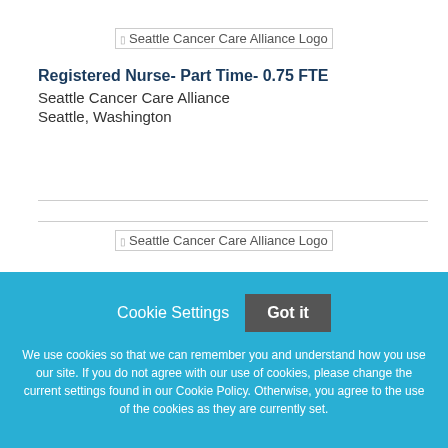[Figure (logo): Seattle Cancer Care Alliance Logo (top)]
Registered Nurse- Part Time- 0.75 FTE
Seattle Cancer Care Alliance
Seattle, Washington
[Figure (logo): Seattle Cancer Care Alliance Logo (second)]
Cookie Settings
Got it
We use cookies so that we can remember you and understand how you use our site. If you do not agree with our use of cookies, please change the current settings found in our Cookie Policy. Otherwise, you agree to the use of the cookies as they are currently set.